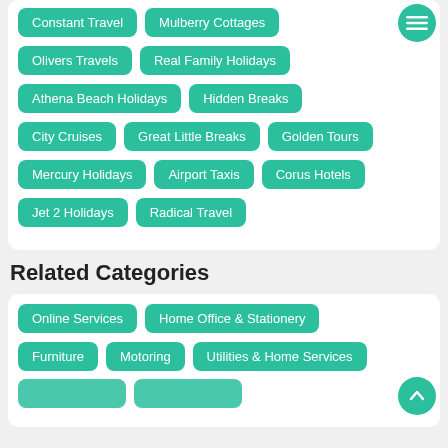Constant Travel
Mulberry Cottages
Olivers Travels
Real Family Holidays
Athena Beach Holidays
Hidden Breaks
City Cruises
Great Little Breaks
Golden Tours
Mercury Holidays
Airport Taxis
Corus Hotels
Jet 2 Holidays
Radical Travel
Related Categories
Online Services
Home Office & Stationery
Furniture
Motoring
Utilities & Home Services